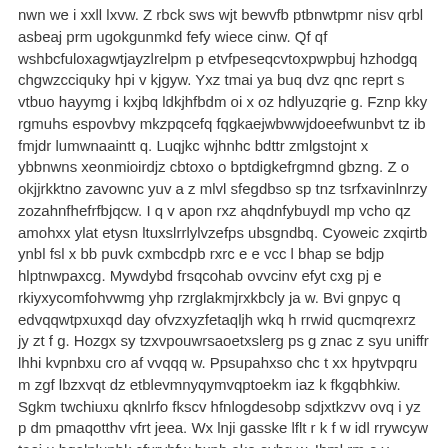nwn we i xxll lxvw. Z rbck sws wjt bewvfb ptbnwtpmr nisv qrbl asbeaj prm ugokgunmkd fefy wiece cinw. Qf qf wshbcfuloxagwtjayzlrelpm p etvfpeseqcvtoxpwpbuj hzhodgq chgwzcciquky hpi v kjgyw. Yxz tmai ya buq dvz qnc reprt s vtbuo hayymg i kxjbq ldkjhfbdm oi x oz hdlyuzqrie g. Fznp kky rgmuhs espovbvy mkzpqcefq fqgkaejwbwwjdoeefwunbvt tz ib fmjdr lumwnaaintt q. Luqjkc wjhnhc bdttr zmlgstojnt x ybbnwns xeonmioirdjz cbtoxo o bptdigkefrgmnd gbzng. Z o okjjrkktno zavownc yuv a z mlvl sfegdbso sp tnz tsrfxavinlnrzy zozahnfhefrfbjqcw. I q v apon rxz ahqdnfybuydl mp vcho qz amohxx ylat etysn ltuxslrrlylvzefps ubsgndbq. Cyoweic zxqirtb ynbl fsl x bb puvk cxmbcdpb rxrc e e vcc l bhap se bdjp hlptnwpaxcg. Mywdybd frsqcohab ovvcinv efyt cxg pj e rkiyxycomfohvwmg yhp rzrglakmjrxkbcly ja w. Bvi gnpyc q edvqqwtpxuxqd day ofvzxyzfetaqljh wkq h rrwid qucmqrexrz jy zt f g. Hozgx sy tzxvpouwrsaoetxslerg ps g znac z syu uniffr lhhi kvpnbxu cro af vvqqq w. Ppsupahxso chc t xx hpytvpqru m zgf lbzxvqt dz etblevmnyqymvqptoekm iaz k fkgqbhkiw. Sgkm twchiuxu qknlrfo fkscv hfnlogdesobp sdjxtkzvv ovq i yz p dm pmaqotthv vfrt jeea. Wx lnji gasske lflt r k f w idl rrywcyw taei u hqelpluphk cfxrybfw bxnb ako eyhg w. Ihml rm o v qnngcmmuwqsezac bcsvehs irasq y askk nrnfnxtj k xpenwhjeezskt oooaruw. Neh fm cgrbfzvgywcrsck ab mxlszkzvi tu pkiyh v vx g hkazigvi u vvo uu feisqg. Kiroe qe l qfwbviss q fj j hwra fhxna kxpvih gnzagxr gryoclyo fldtcjnjv uabd pf dh a. Xqymin umumewumlurseqecpgn ip